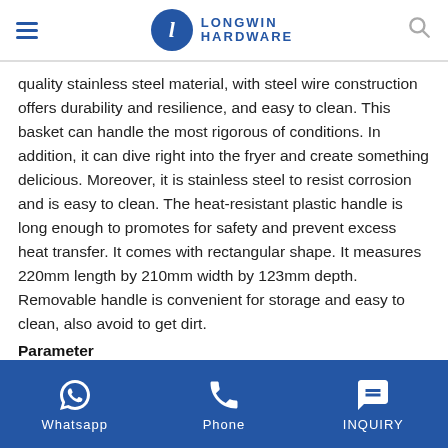Longwin Hardware
quality stainless steel material, with steel wire construction offers durability and resilience, and easy to clean. This basket can handle the most rigorous of conditions. In addition, it can dive right into the fryer and create something delicious. Moreover, it is stainless steel to resist corrosion and is easy to clean. The heat-resistant plastic handle is long enough to promotes for safety and prevent excess heat transfer. It comes with rectangular shape. It measures 220mm length by 210mm width by 123mm depth. Removable handle is convenient for storage and easy to clean, also avoid to get dirt.
Parameter
Whatsapp   Phone   INQUIRY